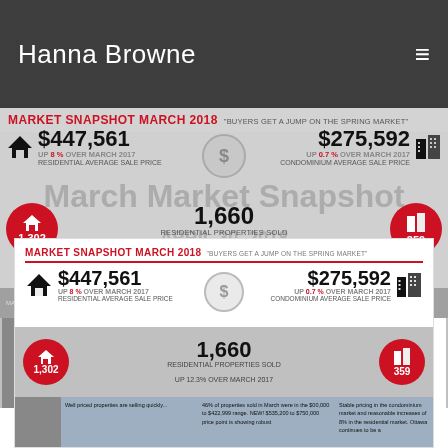Hanna Browne
MARKET SNAPSHOT MARCH 2018 "BUYERS GET A JUMP ON THE SPRING MARKET"
$447,561 UP 8% OVER MARCH 2017 RESIDENTIAL AVERAGE SALE PRICE
$275,592 UP 0.7% OVER MARCH 2017 CONDOMINIUM AVERAGE SALE PRICE
1,660 RESIDENTIAL PROPERTIES SOLD UP 12.3% OVER MARCH 2017
1,302
359
[Figure (infographic): March Market Snapshot overlay text with April 30, 2018 date overlay]
MARKET SNAPSHOT MARCH 2018 "BUYERS GET A JUMP ON THE SPRING MARKET"
$447,561 UP 8% OVER MARCH 2017 RESIDENTIAL AVERAGE SALE PRICE
$275,592 UP 0.7% OVER MARCH 2017 CONDOMINIUM AVERAGE SALE PRICE
1,660 RESIDENTIAL PROPERTIES SOLD UP 12.3% OVER MARCH 2017
1,302
359
Well priced properties are selling quickly, dropping the average days on market to 45 days compared to 54 days
46% of properties sold in March were in the $00,000 to $422,999 range. NEW! $535,200 to $750,000 price point is showing robust
Stable pricing in the condominium market and reasonable increases of 8% in the residential market. Ottawa continues to be a